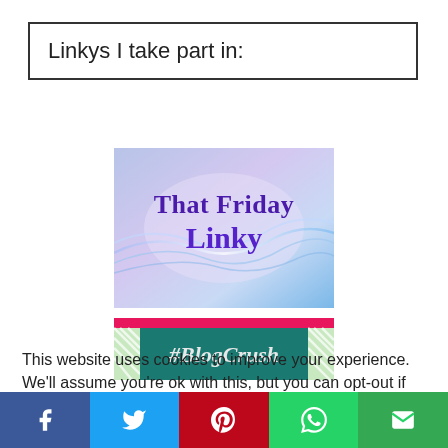Linkys I take part in:
[Figure (illustration): That Friday Linky badge image with purple/blue gradient background and flowing light waves, text reads 'That Friday Linky' in purple serif font]
[Figure (illustration): BlogCrush badge image with pink top bar, teal center with '#BlogCrush' in script, and diagonal green/white striped side borders]
This website uses cookies to improve your experience. We'll assume you're ok with this, but you can opt-out if you wish.
[Figure (infographic): Social share bar with Facebook (blue), Twitter (light blue), Pinterest (red), WhatsApp (green), and Email (dark green) buttons showing their icons]